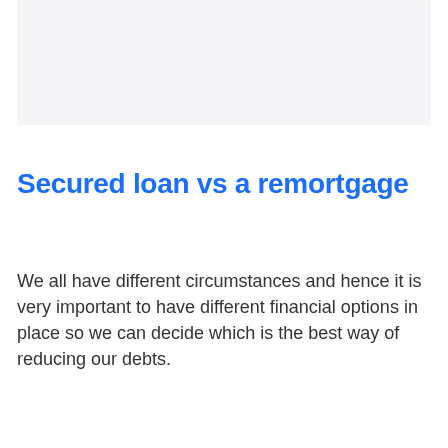[Figure (other): Light gray rectangular image placeholder area at the top of the page]
Secured loan vs a remortgage
We all have different circumstances and hence it is very important to have different financial options in place so we can decide which is the best way of reducing our debts.